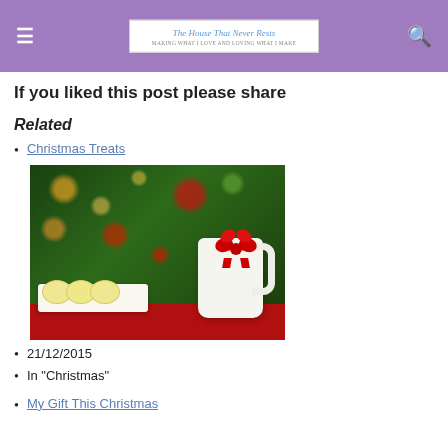The House That Never Rests — MAKING WHAT I LOVE AND LOVING WHAT I MAKE
If you liked this post please share
Related
Christmas Treats
[Figure (photo): A white mug with a red bow sitting on a red tablecloth, alongside white chocolate cookies on a plate, with bokeh Christmas lights in the background]
21/12/2015
In "Christmas"
My Gift This Christmas